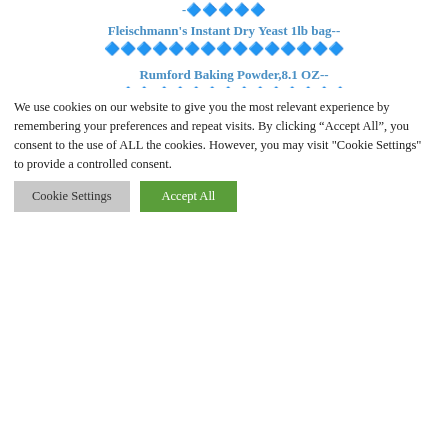-🔷🔷🔷🔷🔷
Fleischmann's Instant Dry Yeast 1lb bag--🔷🔷🔷🔷🔷🔷🔷🔷🔷🔷🔷🔷🔷🔷🔷
Rumford Baking Powder,8.1 OZ--🔷🔷,🔷🔷🔷🔷🔷🔷🔷🔷🔷🔷🔷🔷
Ammonium Carbonate--🔷🔷🔷🔷🔷🔷🔷
🔷🔷🔷🔷
Have you ever tried this sex game before? GIVE IT A TRY: https://letsg0dancing.page.link/go?hs=e5eb022e6b2cdd7260ec243a73202289&🔷🔷🔷🔷AirGo🔷🔷🔷
We use cookies on our website to give you the most relevant experience by remembering your preferences and repeat visits. By clicking "Accept All", you consent to the use of ALL the cookies. However, you may visit "Cookie Settings" to provide a controlled consent.